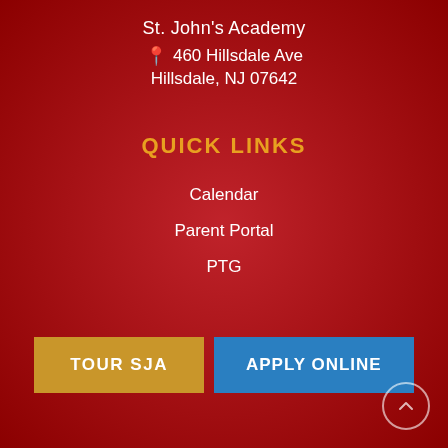St. John's Academy
460 Hillsdale Ave
Hillsdale, NJ 07642
QUICK LINKS
Calendar
Parent Portal
PTG
TOUR SJA
APPLY ONLINE